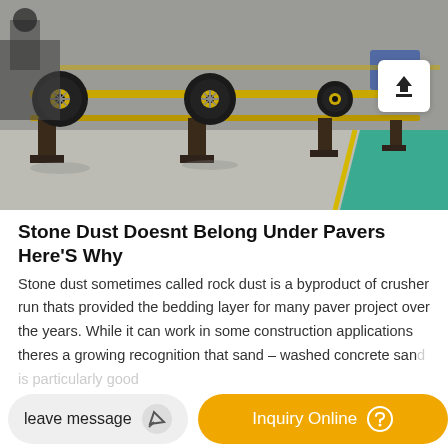[Figure (photo): Industrial conveyor belt machinery in a factory or outdoor yard, showing black rollers with gold/yellow frames mounted on dark pedestals, with a green-painted floor stripe on the right side.]
Stone Dust Doesnt Belong Under Pavers Here'S Why
Stone dust sometimes called rock dust is a byproduct of crusher run thats provided the bedding layer for many paver project over the years. While it can work in some construction applications theres a growing recognition that sand – washed concrete sand is particularly good…